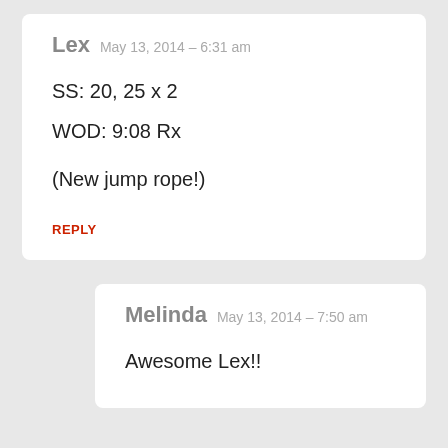Lex  May 13, 2014 – 6:31 am
SS: 20, 25 x 2
WOD: 9:08 Rx

(New jump rope!)
REPLY
Melinda  May 13, 2014 – 7:50 am
Awesome Lex!!